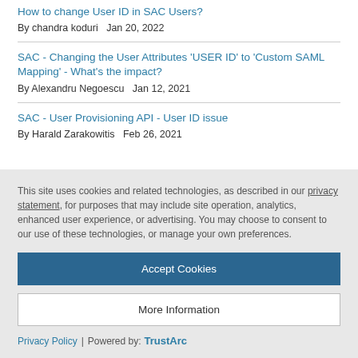How to change User ID in SAC Users?
By chandra koduri   Jan 20, 2022
SAC - Changing the User Attributes 'USER ID' to 'Custom SAML Mapping' - What's the impact?
By Alexandru Negoescu   Jan 12, 2021
SAC - User Provisioning API - User ID issue
By Harald Zarakowitis   Feb 26, 2021
This site uses cookies and related technologies, as described in our privacy statement, for purposes that may include site operation, analytics, enhanced user experience, or advertising. You may choose to consent to our use of these technologies, or manage your own preferences.
Accept Cookies
More Information
Privacy Policy | Powered by: TrustArc